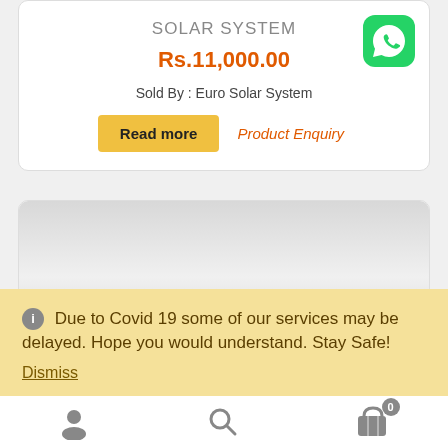SOLAR SYSTEM
Rs.11,000.00
Sold By : Euro Solar System
Read more  Product Enquiry
[Figure (photo): WhatsApp icon - green circle with phone logo]
[Figure (photo): Solar panel product image on grey background]
Due to Covid 19 some of our services may be delayed. Hope you would understand. Stay Safe!
Dismiss
Bottom navigation bar with user, search, and cart icons